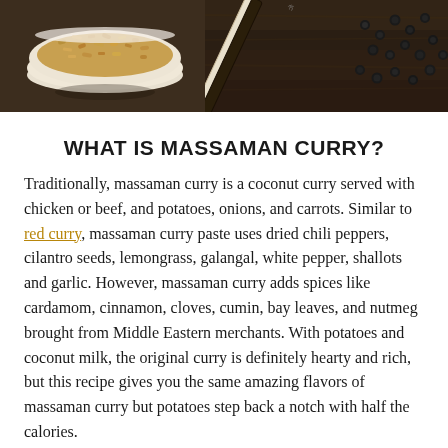[Figure (photo): Top portion of a food blog page showing a photo banner: on the left, a white bowl filled with granola/crushed nuts on a dark wooden surface; on the right, chopsticks and black peppercorns on a dark wooden table.]
WHAT IS MASSAMAN CURRY?
Traditionally, massaman curry is a coconut curry served with chicken or beef, and potatoes, onions, and carrots. Similar to red curry, massaman curry paste uses dried chili peppers, cilantro seeds, lemongrass, galangal, white pepper, shallots and garlic. However, massaman curry adds spices like cardamom, cinnamon, cloves, cumin, bay leaves, and nutmeg brought from Middle Eastern merchants. With potatoes and coconut milk, the original curry is definitely hearty and rich, but this recipe gives you the same amazing flavors of massaman curry but potatoes step back a notch with half the calories.
Typically you can find red curry paste at most grocery stores, however I recommend making a trip to the Asian